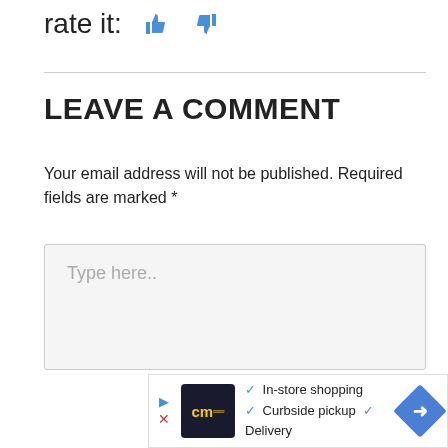rate it: 👍 👎
LEAVE A COMMENT
Your email address will not be published. Required fields are marked *
[Figure (screenshot): Comment text area input box with placeholder text 'Type here..']
[Figure (infographic): Advertisement banner showing cm logo with In-store shopping, Curbside pickup, and Delivery options with a navigation arrow icon]